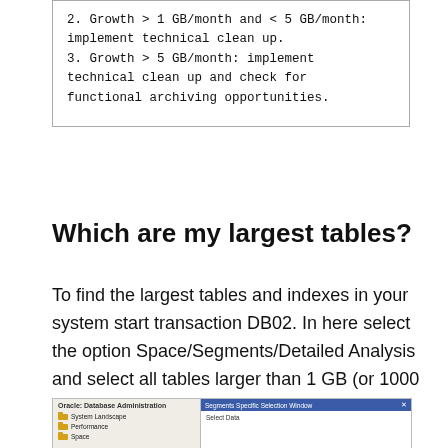2. Growth > 1 GB/month and < 5 GB/month: implement technical clean up.
3. Growth > 5 GB/month: implement technical clean up and check for functional archiving opportunities.
Which are my largest tables?
To find the largest tables and indexes in your system start transaction DB02. In here select the option Space/Segments/Detailed Analysis and select all tables larger than 1 GB (or 1000 MB):
[Figure (screenshot): Screenshot of Oracle Database Administration tool showing left panel with System Landscape, Performance, Space items and right panel showing Segments Specific Selection Window with Select Data option.]